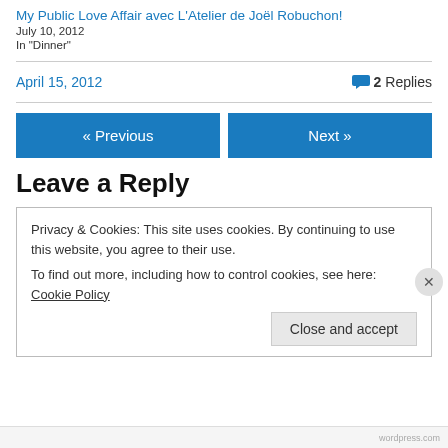My Public Love Affair avec L'Atelier de Joël Robuchon!
July 10, 2012
In "Dinner"
April 15, 2012
2 Replies
« Previous
Next »
Leave a Reply
Privacy & Cookies: This site uses cookies. By continuing to use this website, you agree to their use.
To find out more, including how to control cookies, see here: Cookie Policy
Close and accept